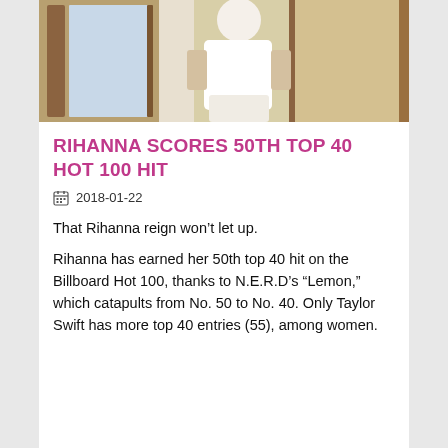[Figure (photo): Photo of a person wearing white clothing standing near wooden-framed doors or windows]
RIHANNA SCORES 50TH TOP 40 HOT 100 HIT
2018-01-22
That Rihanna reign won’t let up.
Rihanna has earned her 50th top 40 hit on the Billboard Hot 100, thanks to N.E.R.D’s “Lemon,” which catapults from No. 50 to No. 40. Only Taylor Swift has more top 40 entries (55), among women.